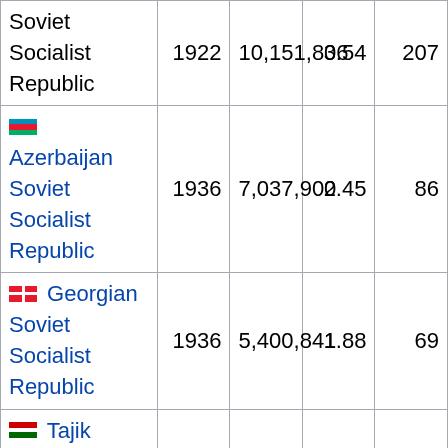| Soviet Socialist Republic | 1922 | 10,151,806 | 3.54 | 207 |
| 🇦🇿 Azerbaijan Soviet Socialist Republic | 1936 | 7,037,900 | 2.45 | 86 |
| 🇬🇪 Georgian Soviet Socialist Republic | 1936 | 5,400,841 | 1.88 | 69 |
| 🇹🇯 Tajik Soviet Socialist Republic | 1929 | 5,112,000 | 1.78 | 143 |